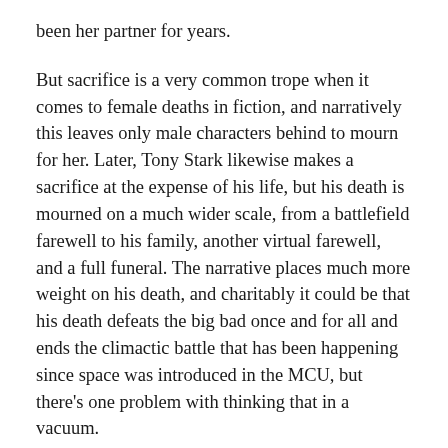been her partner for years.
But sacrifice is a very common trope when it comes to female deaths in fiction, and narratively this leaves only male characters behind to mourn for her. Later, Tony Stark likewise makes a sacrifice at the expense of his life, but his death is mourned on a much wider scale, from a battlefield farewell to his family, another virtual farewell, and a full funeral. The narrative places much more weight on his death, and charitably it could be that his death defeats the big bad once and for all and ends the climactic battle that has been happening since space was introduced in the MCU, but there’s one problem with thinking that in a vacuum.
Tony Stark is presented as the least likely person to